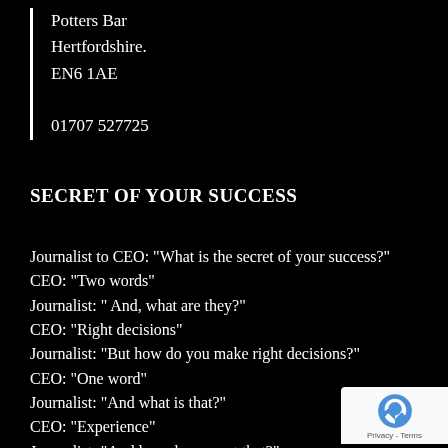Potters Bar
Hertfordshire.
EN6 1AE

01707 527725
SECRET OF YOUR SUCCESS
Journalist to CEO: "What is the secret of your success?"
CEO: "Two words"
Journalist: " And, what are they?"
CEO: "Right decisions"
Journalist: "But how do you make right decisions?"
CEO: "One word"
Journalist: "And what is that?"
CEO: "Experience"
Journalist: "And how do you get that?"
[Figure (logo): reCAPTCHA badge with Privacy - Terms text]